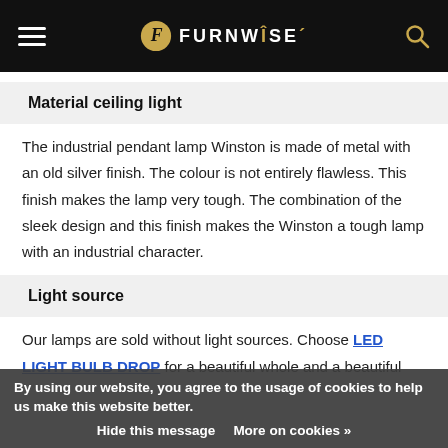FURNWISE
Material ceiling light
The industrial pendant lamp Winston is made of metal with an old silver finish. The colour is not entirely flawless. This finish makes the lamp very tough. The combination of the sleek design and this finish makes the Winston a tough lamp with an industrial character.
Light source
Our lamps are sold without light sources. Choose LED LIGHT BULB DROP for a beautiful whole and a beautiful lighting in yo... source gives beautiful light and is also very nice to look at. The right kind of
By using our website, you agree to the usage of cookies to help us make this website better. Hide this message More on cookies »